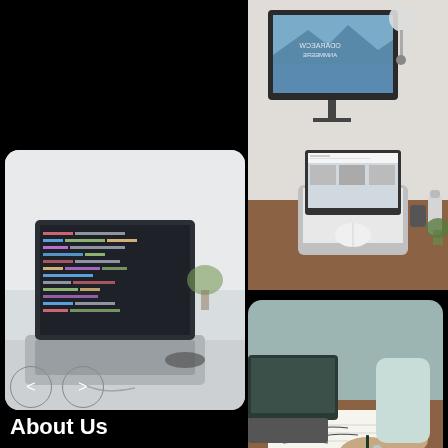[Figure (photo): Laptop and monitor on a wooden desk with a white magic mouse, lamp, and water bottle. Website displayed on screens.]
[Figure (photo): Laptop on a white desk showing code editor with dark theme. Headphones and plants in background.]
[Figure (photo): Person writing in notebook next to open laptop and pencil on wooden desk.]
< >
About Us